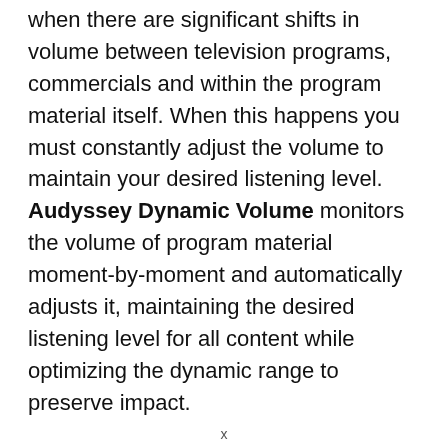when there are significant shifts in volume between television programs, commercials and within the program material itself. When this happens you must constantly adjust the volume to maintain your desired listening level. Audyssey Dynamic Volume monitors the volume of program material moment-by-moment and automatically adjusts it, maintaining the desired listening level for all content while optimizing the dynamic range to preserve impact.
Placing two subwoofers in the room can cause problems, they can create standing waves or even cancel each other out resulting in even less bass than a single sub can produce. Audyssey Sub EQ HT
x